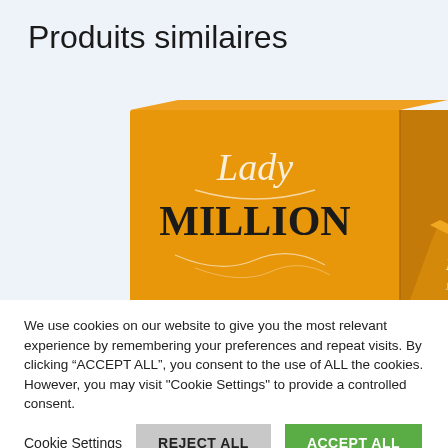Produits similaires
[Figure (photo): Product photo of Lady Million perfume box (orange/gold) by Paco Rabanne, with a smaller bottle visible to the right. Set against a light blue-grey background.]
We use cookies on our website to give you the most relevant experience by remembering your preferences and repeat visits. By clicking “ACCEPT ALL”, you consent to the use of ALL the cookies. However, you may visit "Cookie Settings" to provide a controlled consent.
Cookie Settings   REJECT ALL   ACCEPT ALL